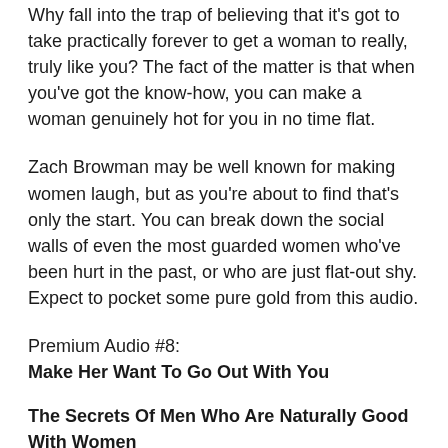Why fall into the trap of believing that it's got to take practically forever to get a woman to really, truly like you? The fact of the matter is that when you've got the know-how, you can make a woman genuinely hot for you in no time flat.
Zach Browman may be well known for making women laugh, but as you're about to find that's only the start. You can break down the social walls of even the most guarded women who've been hurt in the past, or who are just flat-out shy. Expect to pocket some pure gold from this audio.
Premium Audio #8:
Make Her Want To Go Out With You
The Secrets Of Men Who Are Naturally Good With Women